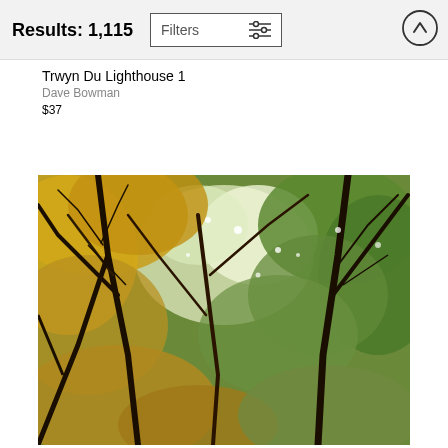Results: 1,115  Filters
Trwyn Du Lighthouse 1
Dave Bowman
$37
[Figure (photo): Upward-looking photograph through a forest canopy showing autumn tree branches with golden-yellow and green foliage against a bright sky]